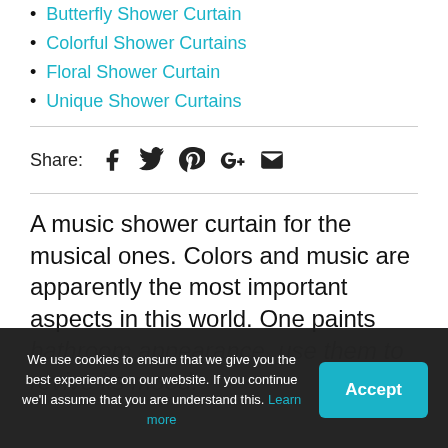Butterfly Shower Curtain
Colorful Shower Curtains
Floral Shower Curtain
Unique Shower Curtains
Share:  [Facebook] [Twitter] [Pinterest] [Google+] [Email]
A music shower curtain for the musical ones. Colors and music are apparently the most important aspects in this world. One paints bathroom appearance, use them to revive its mood.
We use cookies to ensure that we give you the best experience on our website. If you continue we'll assume that you are understand this. Learn more